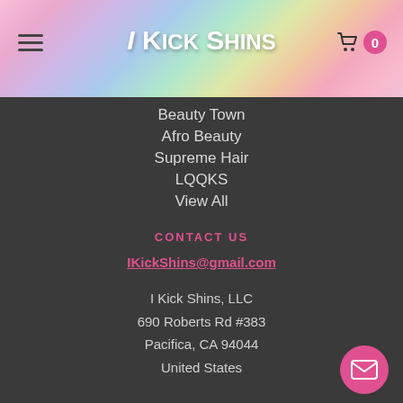I Kick Shins — navigation header with logo and cart
Beauty Town
Afro Beauty
Supreme Hair
LQQKS
View All
CONTACT US
IKickShins@gmail.com
I Kick Shins, LLC
690 Roberts Rd #383
Pacifica, CA 94044
United States
SOCIAL
[Figure (other): Social media icons: Facebook, Instagram, Twitter, YouTube]